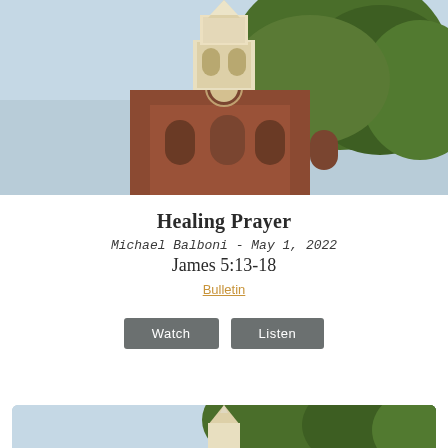[Figure (photo): Photograph of a red brick church with a white steeple/bell tower against a light blue sky, with green trees on the right side]
Healing Prayer
Michael Balboni - May 1, 2022
James 5:13-18
Bulletin
Watch
Listen
[Figure (photo): Partial photograph of the same red brick church with white steeple, cropped at bottom of page]